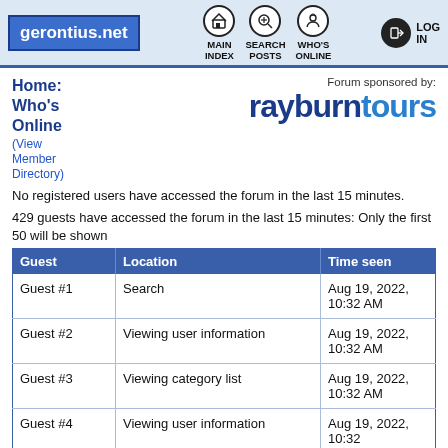gerontius.net — MAIN INDEX | SEARCH POSTS | WHO'S ONLINE | LOG IN
Home: Who's Online (View Member Directory)
[Figure (logo): Rayburn Tours logo — sponsor of the forum]
No registered users have accessed the forum in the last 15 minutes.
429 guests have accessed the forum in the last 15 minutes: Only the first 50 will be shown
| Guest | Location | Time seen |
| --- | --- | --- |
| Guest #1 | Search | Aug 19, 2022, 10:32 AM |
| Guest #2 | Viewing user information | Aug 19, 2022, 10:32 AM |
| Guest #3 | Viewing category list | Aug 19, 2022, 10:32 AM |
| Guest #4 | Viewing user information | Aug 19, 2022, 10:32 |